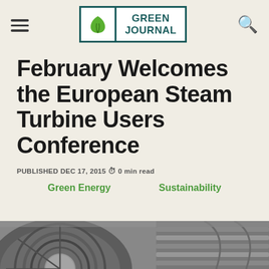GREEN JOURNAL
February Welcomes the European Steam Turbine Users Conference
PUBLISHED DEC 17, 2015 ⊙ 0 min read
Green Energy
Sustainability
[Figure (photo): Close-up photograph of steam turbine blades/rotor components in grayscale]